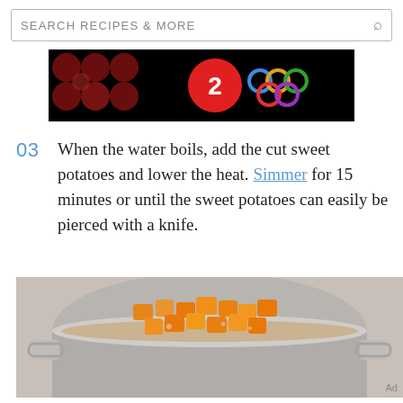SEARCH RECIPES & MORE
[Figure (photo): Advertisement banner with dark background, decorative dots on left, red circle with number 2 in center, and Olympic-style colored rings on right]
03  When the water boils, add the cut sweet potatoes and lower the heat. Simmer for 15 minutes or until the sweet potatoes can easily be pierced with a knife.
[Figure (photo): Overhead view of diced orange sweet potatoes simmering in water inside a stainless steel pot with two handles, on a gray countertop]